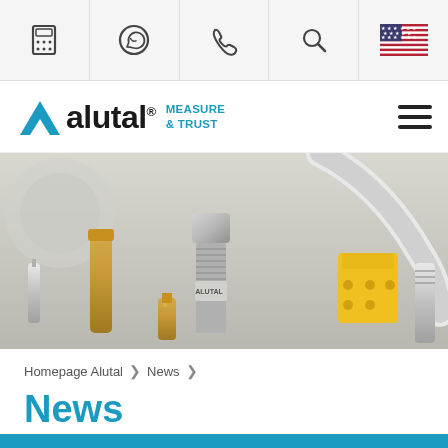Top navigation bar with calculator, WhatsApp, phone, search, and US flag icons
[Figure (logo): Alutal logo with triangle, wordmark and 'MEASURE & TRUST' tagline]
[Figure (photo): Close-up of industrial measurement fittings and connectors including brass and silver threaded components, with ALUTAL branded part in center, and yellow connector on right]
Homepage Alutal > News >
News